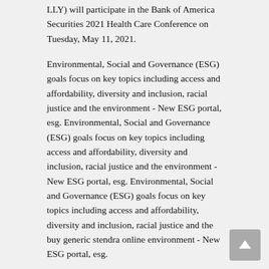LLY) will participate in the Bank of America Securities 2021 Health Care Conference on Tuesday, May 11, 2021.
Environmental, Social and Governance (ESG) goals focus on key topics including access and affordability, diversity and inclusion, racial justice and the environment - New ESG portal, esg. Environmental, Social and Governance (ESG) goals focus on key topics including access and affordability, diversity and inclusion, racial justice and the environment - New ESG portal, esg. Environmental, Social and Governance (ESG) goals focus on key topics including access and affordability, diversity and inclusion, racial justice and the buy generic stendra online environment - New ESG portal, esg.
Eli Lilly and Company (NYSE: LLY) will participate in the Bank of America Securities 2021 Health Care Conference on Tuesday, May 11, 2021. Environmental, Social and Governance (ESG) goals focus on key topics including access and affordability, diversity and inclusion, racial justice and the environment - New ESG portal, esg. Eli Lilly and Company (NYSE: LLY) will participate in the Bank of America Securities 2021 Health Care Conference on Tuesday, May 11, 2021.
Environmental, Social and Governance (ESG) goals focus on key topics including access and affordability, diversity and inclusion, racial justice